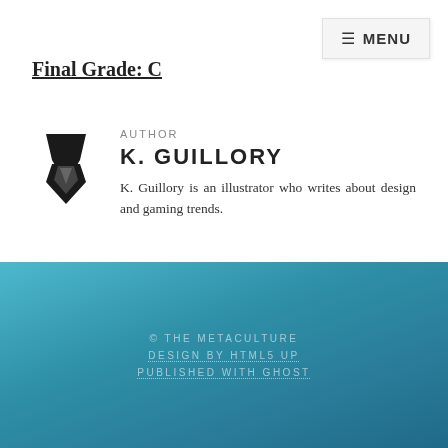≡ MENU
Final Grade: C
[Figure (logo): A stylized black letter V or shield/gem logo mark for The Metaculture]
AUTHOR
K. GUILLORY
K. Guillory is an illustrator who writes about design and gaming trends.
© THE METACULTURE
DESIGN BY HTML5 UP
PUBLISHED WITH GHOST